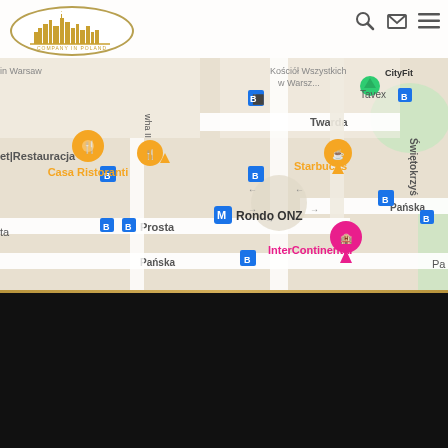[Figure (map): Google Maps view of central Warsaw, Poland, showing streets including Twarda, Pańska, Prosta, and landmarks including Rondo ONZ metro station, Casa Ristoranti, Starbucks, and InterContinental hotel]
Useful links
Ministry of Finance
The Social Insurance Institution
Chamber of Tax Administration
National Labour Inspectorate